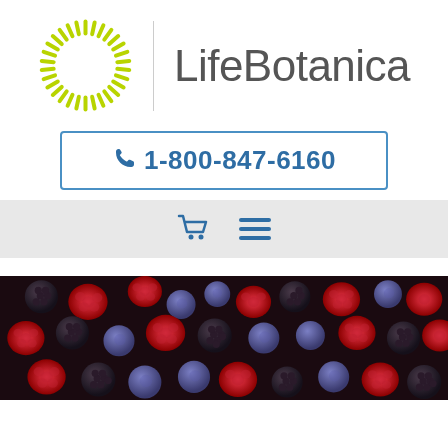[Figure (logo): LifeBotanica company logo with sun/starburst icon in yellow-green and 'LifeBotanica' text in gray]
1-800-847-6160
[Figure (screenshot): Navigation bar with shopping cart and hamburger menu icons]
[Figure (photo): Close-up photo of mixed berries including raspberries, blueberries, and blackberries]